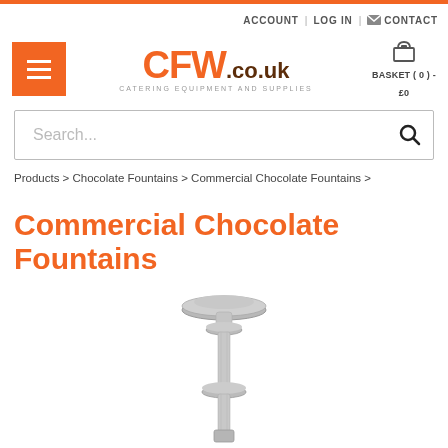ACCOUNT | LOG IN | CONTACT
[Figure (logo): CFW.CO.UK CATERING EQUIPMENT AND SUPPLIES logo with orange CFW text and basket icon]
Search...
Products > Chocolate Fountains > Commercial Chocolate Fountains >
Commercial Chocolate Fountains
[Figure (photo): Stainless steel chocolate fountain center column/auger mechanism shown vertically]